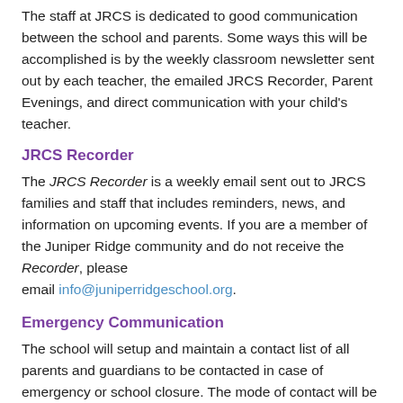The staff at JRCS is dedicated to good communication between the school and parents. Some ways this will be accomplished is by the weekly classroom newsletter sent out by each teacher, the emailed JRCS Recorder, Parent Evenings, and direct communication with your child's teacher.
JRCS Recorder
The JRCS Recorder is a weekly email sent out to JRCS families and staff that includes reminders, news, and information on upcoming events. If you are a member of the Juniper Ridge community and do not receive the Recorder, please email info@juniperridgeschool.org.
Emergency Communication
The school will setup and maintain a contact list of all parents and guardians to be contacted in case of emergency or school closure. The mode of contact will be the phone contact, where the primary contact...